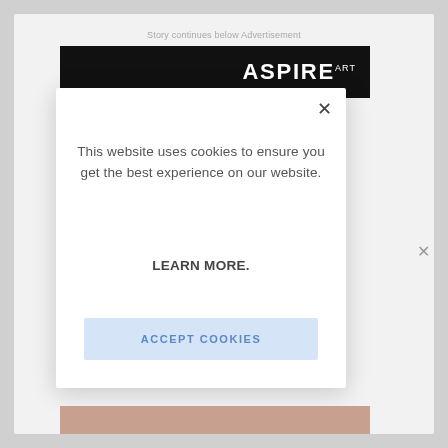Story continues below Advertisement
[Figure (screenshot): Aspire Art advertisement banner — black background with white bold text 'ASPIRE ART']
[Figure (screenshot): Cookie consent modal dialog with close X button, body text 'This website uses cookies to ensure you get the best experience on our website. LEARN MORE.' and an 'ACCEPT COOKIES' button]
This website uses cookies to ensure you get the best experience on our website.
LEARN MORE.
ACCEPT COOKIES